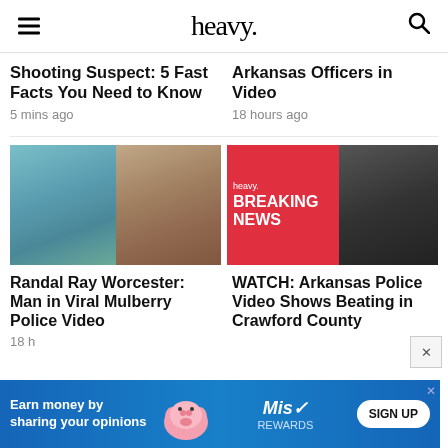heavy.
Shooting Suspect: 5 Fast Facts You Need to Know
5 mins ago
Arkansas Officers in Video
18 hours ago
[Figure (photo): Composite photo of Randal Ray Worcester - two photos side by side]
[Figure (photo): Heavy breaking news composite with red panel and police video photo]
Randal Ray Worcester: Man in Viral Mulberry Police Video
18 h
WATCH: Arkansas Police Video Shows Beating in Crawford County
[Figure (infographic): Advertisement banner: Earn money by sharing your opinions - Miso Rewards SIGN UP]